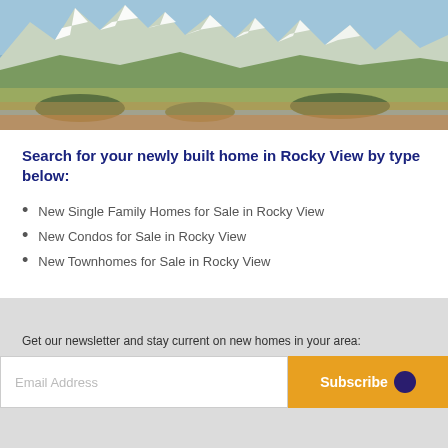[Figure (photo): Panoramic landscape photo showing snow-capped Rocky Mountains in the background with green and golden prairies and foothills in the foreground under a blue sky.]
Search for your newly built home in Rocky View by type below:
New Single Family Homes for Sale in Rocky View
New Condos for Sale in Rocky View
New Townhomes for Sale in Rocky View
Get our newsletter and stay current on new homes in your area: